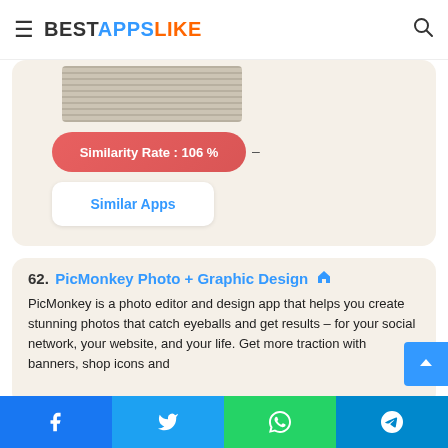BESTAPPSLIKE
[Figure (screenshot): App screenshot thumbnail showing a light wood or stone textured image]
Similarity Rate : 106 %
Similar Apps
62. PicMonkey Photo + Graphic Design
PicMonkey is a photo editor and design app that helps you create stunning photos that catch eyeballs and get results – for your social network, your website, and your life. Get more traction with banners, shop icons and